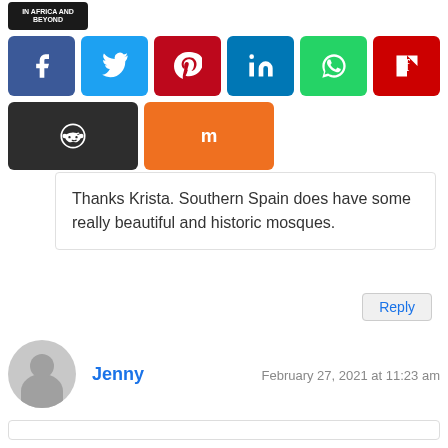[Figure (screenshot): Social media share buttons row 1: Facebook, Twitter, Pinterest, LinkedIn, WhatsApp, Flipboard]
[Figure (screenshot): Social media share buttons row 2: Reddit, Mix]
Thanks Krista. Southern Spain does have some really beautiful and historic mosques.
Reply
Jenny
February 27, 2021 at 11:23 am